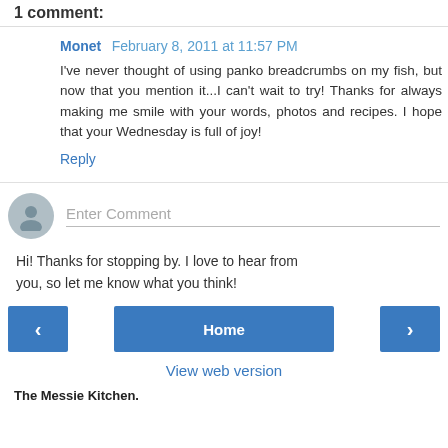1 comment:
Monet  February 8, 2011 at 11:57 PM
I've never thought of using panko breadcrumbs on my fish, but now that you mention it...I can't wait to try! Thanks for always making me smile with your words, photos and recipes. I hope that your Wednesday is full of joy!
Reply
Enter Comment
Hi! Thanks for stopping by. I love to hear from you, so let me know what you think!
Home
View web version
The Messie Kitchen.